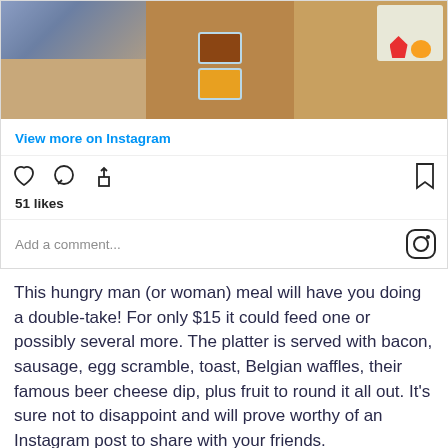[Figure (photo): Instagram post photo strip showing food items: left panel with blue and brown tones, middle panel with two sauce bowls (dark brown and yellow/mustard), right panel with waffles and a plate of fruit including strawberries and mango]
View more on Instagram
51 likes
Add a comment...
This hungry man (or woman) meal will have you doing a double-take! For only $15 it could feed one or possibly several more. The platter is served with bacon, sausage, egg scramble, toast, Belgian waffles, their famous beer cheese dip, plus fruit to round it all out. It's sure not to disappoint and will prove worthy of an Instagram post to share with your friends.